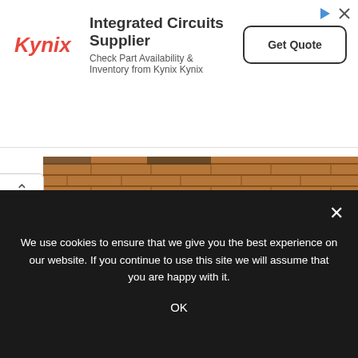[Figure (other): Kynix Integrated Circuits Supplier advertisement banner with logo, headline, subline text, and Get Quote button]
[Figure (photo): Photograph of the Dashavatara Temple brick wall, showing ancient stone masonry from the Gupta Period]
Dashavatara Temple, built during the Gupta Period
©www.wikipedia.org
[Figure (photo): Photograph of a temple spire (shikhara) shot from below against a blue sky]
We use cookies to ensure that we give you the best experience on our website. If you continue to use this site we will assume that you are happy with it.
OK